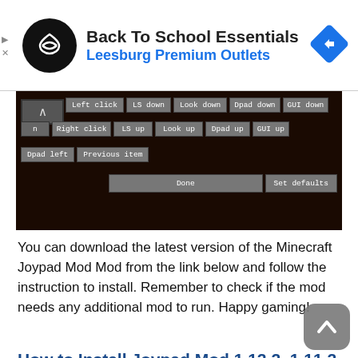[Figure (screenshot): Advertisement banner for Back To School Essentials at Leesburg Premium Outlets with logo and navigation arrow icon]
[Figure (screenshot): Minecraft Joypad Mod configuration screen showing button mapping controls including Left click, Right click, LS down, LS up, Look down, Look up, Dpad down, Dpad up, GUI down, GUI up, Dpad left, Previous item, Done, and Set defaults buttons]
You can download the latest version of the Minecraft Joypad Mod Mod from the link below and follow the instruction to install. Remember to check if the mod needs any additional mod to run. Happy gaming!
How to Install Joypad Mod 1.12.2, 1.11.2 with Forge Modloader
Download Forge Installer, Joypad.jar file.
Right click Forge Installer, Run as Administrator and press OK to install Forge. (You can skip this if you've installed Minecraft Forge)
Open Start on desktop > Open Run (Or you can use...